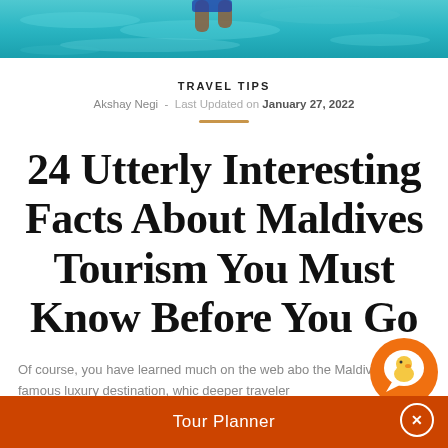[Figure (photo): Aerial view of turquoise ocean water with a person's legs visible at the top edge, snorkeling or standing on a shallow reef]
TRAVEL TIPS
Akshay Negi  -  Last Updated on January 27, 2022
24 Utterly Interesting Facts About Maldives Tourism You Must Know Before You Go
Of course, you have learned much on the web about the Maldives is a famous luxury destination, which deeper traveler
[Figure (illustration): Orange circular chat bubble icon with a duck/bird character inside]
Tour Planner